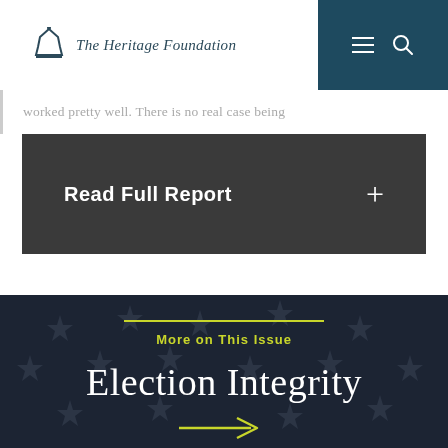The Heritage Foundation
worked pretty well. There is no real case being
Read Full Report +
More on This Issue
Election Integrity